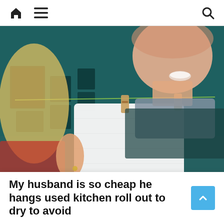Navigation bar with home, menu, and search icons
[Figure (photo): Two people holding up a used paper kitchen roll (kitchen towel) hung on a string with wooden clothespins. The background shows a teal-colored room with framed pictures on the wall. A blonde woman in a red top is on the left and a man in a gray shirt is on the right, appearing to talk.]
My husband is so cheap he hangs used kitchen roll out to dry to avoid